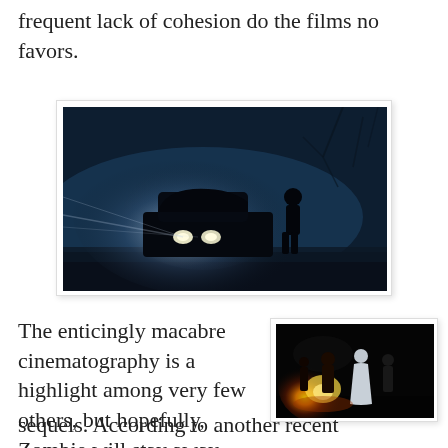frequent lack of cohesion do the films no favors.
[Figure (photo): Dark cinematic still: silhouette of a person standing next to a car with bright headlights against a dark blue twilight sky with bare tree branches.]
The enticingly macabre cinematography is a highlight among very few others, but hopefully, Zombie will stay away from any further HALLOWEEN sequels. According to another recent interview,
[Figure (photo): Dark cinematic still: figures standing in the dark, one in a white dress/robe, with orange fire or light glowing in the foreground.]